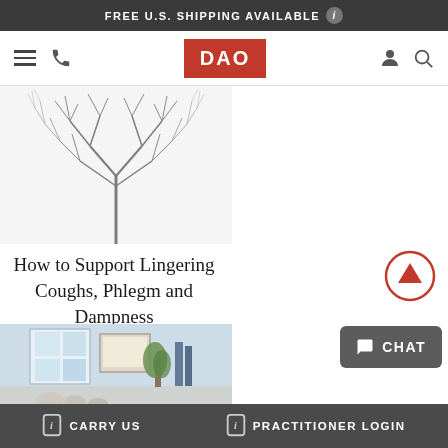FREE U.S. SHIPPING AVAILABLE
[Figure (logo): DAO logo in red/white with navigation icons (hamburger menu, phone, user, search)]
[Figure (photo): Symmetrical abstract tree branch image in black and white]
How to Support Lingering Coughs, Phlegm and Dampness
[Figure (photo): Interior room photo showing a bright room with framed art and plant]
CARRY US    PRACTITIONER LOGIN